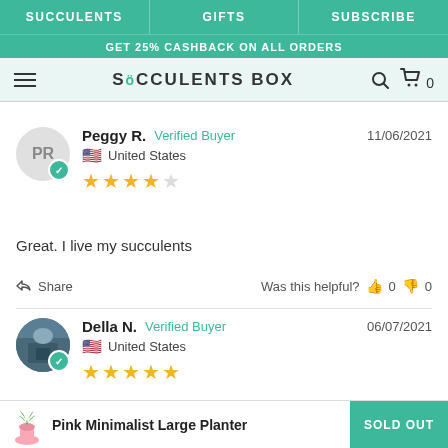SUCCULENTS | GIFTS | SUBSCRIBE
GET 25% CASHBACK ON ALL ORDERS
SUCCULENTS BOX
Peggy R. Verified Buyer 11/06/2021 United States ★★★★☆
Great. I live my succulents
Share | Was this helpful? 👍 0 👎 0
Della N. Verified Buyer 06/07/2021 United States ★★★★★
Pink Minimalist Large Planter SOLD OUT